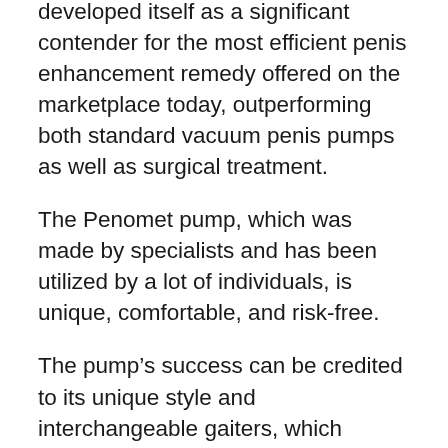developed itself as a significant contender for the most efficient penis enhancement remedy offered on the marketplace today, outperforming both standard vacuum penis pumps as well as surgical treatment.
The Penomet pump, which was made by specialists and has been utilized by a lot of individuals, is unique, comfortable, and risk-free.
The pump’s success can be credited to its unique style and interchangeable gaiters, which permit consumers to manage the pressure that is related to the penis and also obtain the outcomes they prefer.
Furthermore, all its ideas in A 5-point scale…